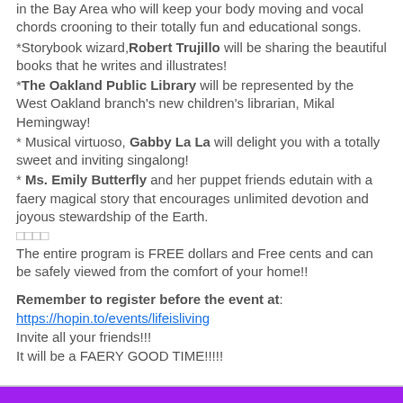in the Bay Area who will keep your body moving and vocal chords crooning to their totally fun and educational songs.
*Storybook wizard, Robert Trujillo will be sharing the beautiful books that he writes and illustrates!
*The Oakland Public Library will be represented by the West Oakland branch's new children's librarian, Mikal Hemingway!
* Musical virtuoso, Gabby La La will delight you with a totally sweet and inviting singalong!
* Ms. Emily Butterfly and her puppet friends edutain with a faery magical story that encourages unlimited devotion and joyous stewardship of the Earth.
□□□□
The entire program is FREE dollars and Free cents and can be safely viewed from the comfort of your home!!
Remember to register before the event at: https://hopin.to/events/lifeisliving Invite all your friends!!! It will be a FAERY GOOD TIME!!!!!